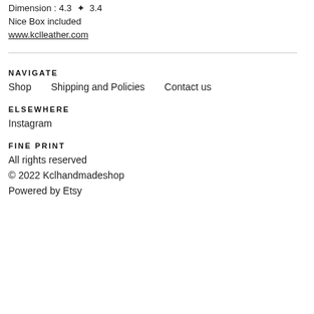Dimension : 4.3 ✦ 3.4
Nice Box included
www.kclleather.com
NAVIGATE
Shop
Shipping and Policies
Contact us
ELSEWHERE
Instagram
FINE PRINT
All rights reserved
© 2022 Kclhandmadeshop
Powered by Etsy